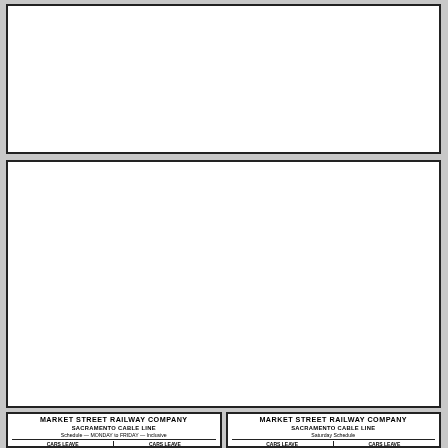[Figure (other): Top white rectangular document area, blank]
[Figure (other): Middle white rectangular document area, blank]
| CARS LEAVE | CARS LEAVE |
| --- | --- |
| Sacramento & Fillmore Sts. | Ferry Terminal |
| CARS LEAVE | CARS LEAVE |
| --- | --- |
| Sacramento & Fillmore Sts. | Ferry Terminal |